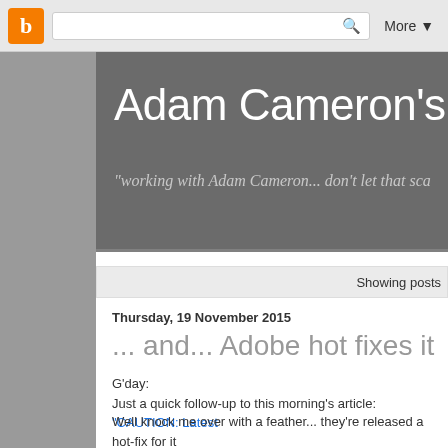Blogger navigation bar with search box and More button
Adam Cameron's D...
"working with Adam Cameron... don't let that sca..."
Showing posts...
Thursday, 19 November 2015
... and... Adobe hot fixes it
G'day:
Just a quick follow-up to this morning's article: "CAUTION: Latest...
Well knock me over with a feather... they're released a hot-fix for it...